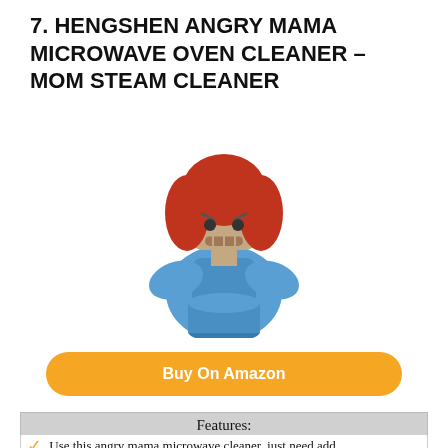7. HENGSHEN ANGRY MAMA MICROWAVE OVEN CLEANER – MOM STEAM CLEANER
[Figure (photo): Angry Mama microwave cleaner toy figure with red hair and blue body]
Buy On Amazon
Features:
Use this angry mama microwave cleaner, just need add
Our creative microwave cleaner will not release harmful
Easy to use, first remove angry mama's hair and head
The smart design of the holes on the mad mom head, let